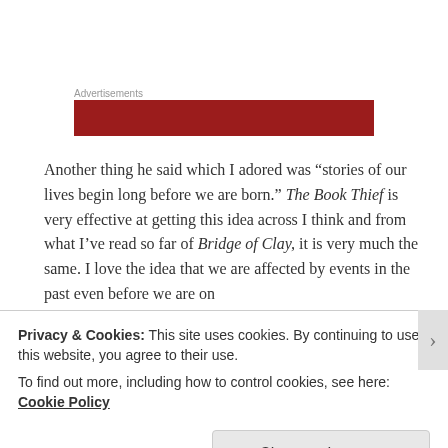Advertisements
[Figure (other): Red advertisement banner placeholder]
Another thing he said which I adored was “stories of our lives begin long before we are born.” The Book Thief is very effective at getting this idea across I think and from what I’ve read so far of Bridge of Clay, it is very much the same. I love the idea that we are affected by events in the past even before we are on
Privacy & Cookies: This site uses cookies. By continuing to use this website, you agree to their use.
To find out more, including how to control cookies, see here: Cookie Policy
Close and accept